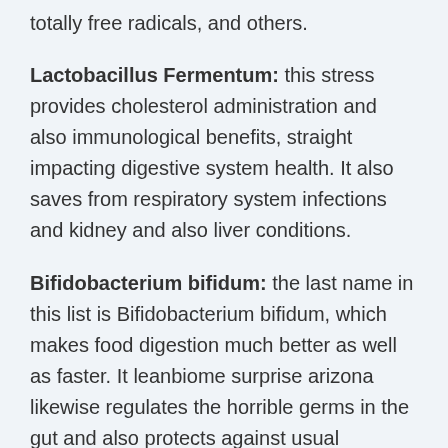totally free radicals, and others.
Lactobacillus Fermentum: this stress provides cholesterol administration and also immunological benefits, straight impacting digestive system health. It also saves from respiratory system infections and kidney and also liver conditions.
Bifidobacterium bifidum: the last name in this list is Bifidobacterium bifidum, which makes food digestion much better as well as faster. It leanbiome surprise arizona likewise regulates the horrible germs in the gut and also protects against usual digestion issues.
Inulin: This active ingredient is prebiotic, which regulates defecation and aids in food digestion